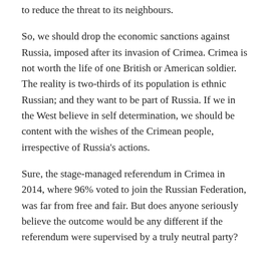to reduce the threat to its neighbours.
So, we should drop the economic sanctions against Russia, imposed after its invasion of Crimea. Crimea is not worth the life of one British or American soldier. The reality is two-thirds of its population is ethnic Russian; and they want to be part of Russia. If we in the West believe in self determination, we should be content with the wishes of the Crimean people, irrespective of Russia's actions.
Sure, the stage-managed referendum in Crimea in 2014, where 96% voted to join the Russian Federation, was far from free and fair. But does anyone seriously believe the outcome would be any different if the referendum were supervised by a truly neutral party?